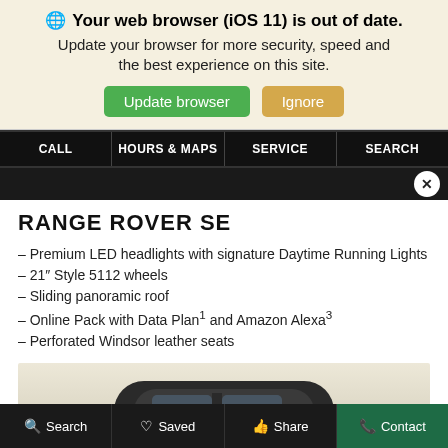Your web browser (iOS 11) is out of date. Update your browser for more security, speed and the best experience on this site.
Update browser | Ignore
CALL | HOURS & MAPS | SERVICE | SEARCH
RANGE ROVER SE
– Premium LED headlights with signature Daytime Running Lights
– 21" Style 5112 wheels
– Sliding panoramic roof
– Online Pack with Data Plan¹ and Amazon Alexa³
– Perforated Windsor leather seats
[Figure (photo): Range Rover SE vehicle photo, top/rear view showing roof and upper body]
Search | Saved | Share | Contact